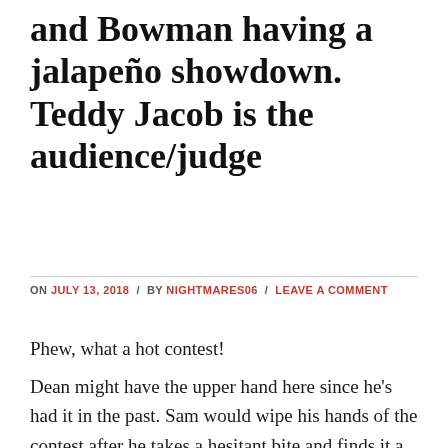and Bowman having a jalapeño showdown. Teddy Jacob is the audience/judge
ON JULY 13, 2018 / BY NIGHTMARES06 / LEAVE A COMMENT
Phew, what a hot contest!
Dean might have the upper hand here since he's had it in the past. Sam would wipe his hands of the contest after he takes a hesitant bite and finds it a lot stronger than what he's used to.